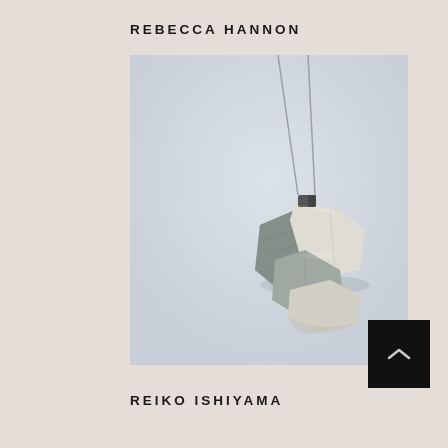REBECCA HANNON
[Figure (photo): A sculptural jewelry pendant made of folded textured grey and white material pieces, hanging from two thin silver cords against a light grey-blue background. The piece appears to be a necklace with an abstract, origami-like cluster of folded flat shapes.]
REIKO ISHIYAMA